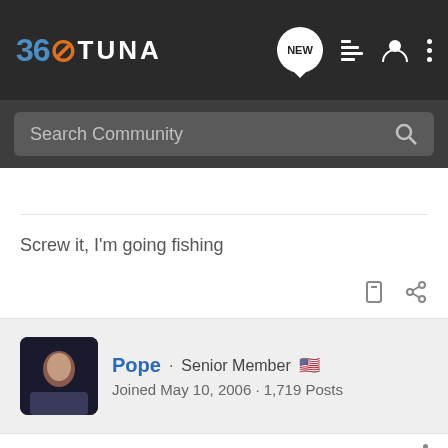360 TUNA
Search Community
Screw it, I'm going fishing
Pope · Senior Member
Joined May 10, 2006 · 1,719 Posts
#5 · Sep 20, 2007
Looks like a full moon hunt is in order. 😉